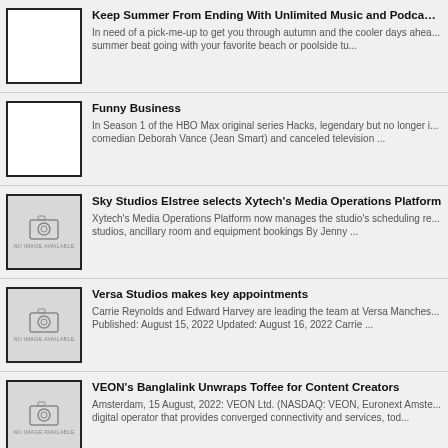Keep Summer From Ending With Unlimited Music and Podcasts f... In need of a pick-me-up to get you through autumn and the cooler days ahea... summer beat going with your favorite beach or poolside tu...
Funny Business
In Season 1 of the HBO Max original series Hacks, legendary but no longer i... comedian Deborah Vance (Jean Smart) and canceled television ...
Sky Studios Elstree selects Xytech's Media Operations Platform
Xytech's Media Operations Platform now manages the studio's scheduling re... studios, ancillary room and equipment bookings By Jenny ...
Versa Studios makes key appointments
Carrie Reynolds and Edward Harvey are leading the team at Versa Manches... Published: August 15, 2022 Updated: August 16, 2022 Carrie ...
VEON's Banglalink Unwraps Toffee for Content Creators
Amsterdam, 15 August, 2022: VEON Ltd. (NASDAQ: VEON, Euronext Amste... digital operator that provides converged connectivity and services, tod...
Net Insight wins substantial Nimbra Edge order
Stockholm, Sweden - A leading American service provider has selected Net In... cloud and hardware solution including a license agreement in ...
Shona Fraser Appointed Managing Director of Good Times
Banijay Germany today announces a new leadership structure at Good Time... and appoints Managing Director Shona Fraser...